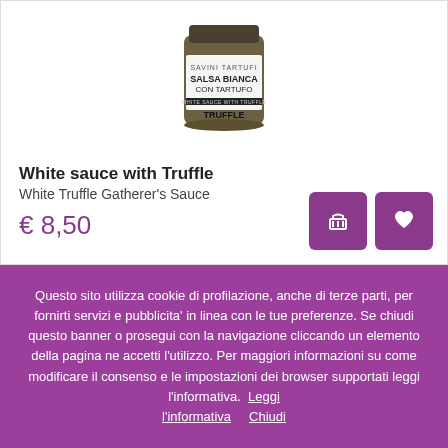[Figure (photo): Glass jar of Savini Tartufi Salsa Bianca con Tartufo (White Sauce with Truffle) product]
White sauce with Truffle
White Truffle Gatherer’s Sauce
€ 8,50
Questo sito utilizza cookie di profilazione, anche di terze parti, per fornirti servizi e pubblicita’ in linea con le tue preferenze. Se chiudi questo banner o prosegui con la navigazione cliccando un elemento della pagina ne accetti l’utilizzo. Per maggiori informazioni su come modificare il consenso e le impostazioni dei browser supportati leggi l’informativa.  Leggi l’informativa    Chiudi